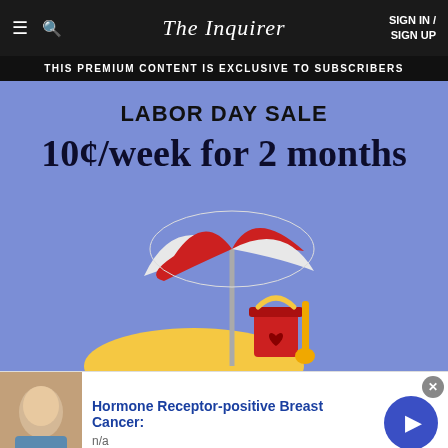The Inquirer — SIGN IN / SIGN UP
THIS PREMIUM CONTENT IS EXCLUSIVE TO SUBSCRIBERS
[Figure (illustration): Labor Day Sale promotion graphic on blue/purple background. Large text reads 'LABOR DAY SALE' and '10¢/week for 2 months'. Below is an illustration of a red and white beach umbrella, a red sand bucket, and a yellow shovel on a yellow sand mound.]
Hormone Receptor-positive Breast Cancer: n/a